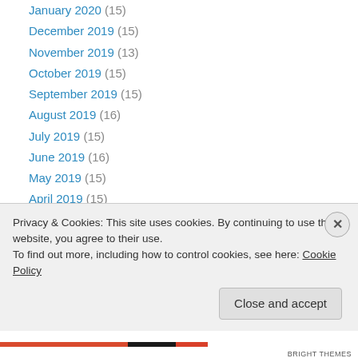January 2020 (15)
December 2019 (15)
November 2019 (13)
October 2019 (15)
September 2019 (15)
August 2019 (16)
July 2019 (15)
June 2019 (16)
May 2019 (15)
April 2019 (15)
March 2019 (17)
February 2019 (14)
January 2019 (16)
Privacy & Cookies: This site uses cookies. By continuing to use this website, you agree to their use. To find out more, including how to control cookies, see here: Cookie Policy